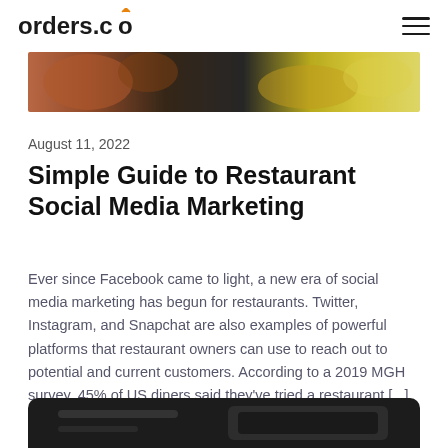orders.co
[Figure (photo): Top portion of a food/restaurant hero image showing colorful food items]
August 11, 2022
Simple Guide to Restaurant Social Media Marketing
Ever since Facebook came to light, a new era of social media marketing has begun for restaurants. Twitter, Instagram, and Snapchat are also examples of powerful platforms that restaurant owners can use to reach out to potential and current customers. According to a 2019 MGH survey, 45% of US diners said they've tried a restaurant [...]
[Figure (photo): Bottom portion of a dark restaurant/device related image, partially visible at bottom of page]